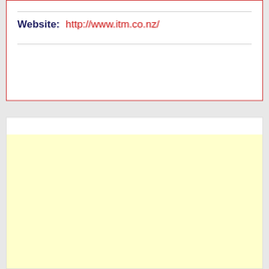Website:  http://www.itm.co.nz/